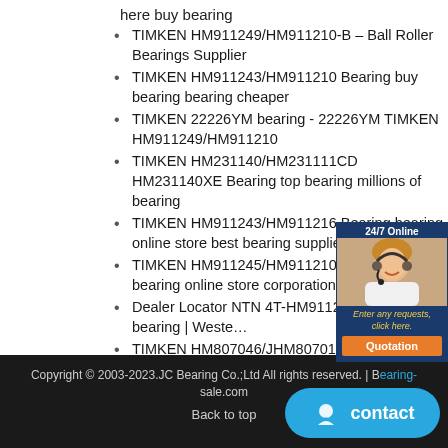here buy bearing
TIMKEN HM911249/HM911210-B – Ball Roller Bearings Supplier
TIMKEN HM911243/HM911210 Bearing buy bearing bearing cheaper
TIMKEN 22226YM bearing - 22226YM TIMKEN HM911249/HM911210
TIMKEN HM231140/HM231111CD HM231140XE Bearing top bearing millions of bearing
TIMKEN HM911243/HM911216 Bearing bearing online store best bearing supplier
TIMKEN HM911245/HM911210-B Bearing bearing online store corporation
Dealer Locator NTN 4T-HM911242/HM911210 bearing | Weste…
TIMKEN HM807046/JHM807012 Bearing bearing quick delivery bearing import
TIMKEN HM807040/JHM807012 Bearing search bearing original bearing
TIMKEN HM231148/HM231111CD HM231149XB Bearing reliable bearing top bearing
[Figure (illustration): Customer service representative widget with 24/7 Online label, woman photo, 'Enter any requests, click here.' text, and orange Quotation button]
Copyright © 2003-2023.JC Bearing Co.;Ltd All rights reserved. | Bearing-sale.com
Back to top